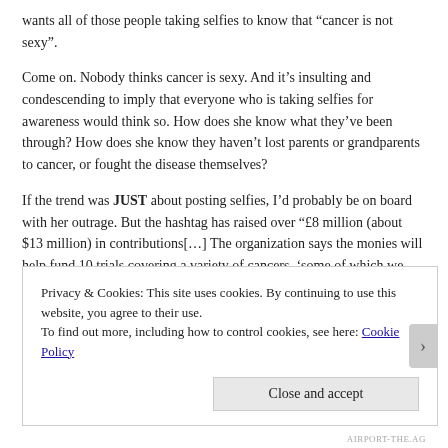wants all of those people taking selfies to know that “cancer is not sexy”.
Come on. Nobody thinks cancer is sexy. And it’s insulting and condescending to imply that everyone who is taking selfies for awareness would think so. How does she know what they’ve been through? How does she know they haven’t lost parents or grandparents to cancer, or fought the disease themselves?
If the trend was JUST about posting selfies, I’d probably be on board with her outrage. But the hashtag has raised over “£8 million (about $13 million) in contributions[…] The organization says the monies will help fund 10 trials covering a variety of cancers, ‘some of which we were previously unable to fully fund or couldn’t afford to fund at all.’” The quote is from Williams’s article itself.
It seems that Williams is of the mindset that many adults are when talking about selfies. There’s been plenty of hand-wringing on the internet about how selfies
Privacy & Cookies: This site uses cookies. By continuing to use this website, you agree to their use.
To find out more, including how to control cookies, see here: Cookie Policy
Close and accept